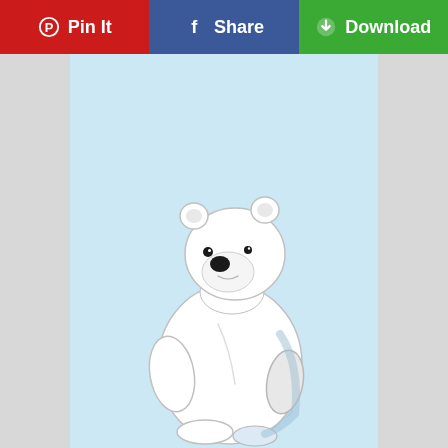[Figure (other): Toolbar with Pinterest Pin It (red), Facebook Share (blue), and Download (green) buttons]
[Figure (illustration): White cartoon polar bear (Ice Bear from We Bare Bears) standing upright on a light blue background, looking upward to the left, with gray side panels flanking the image]